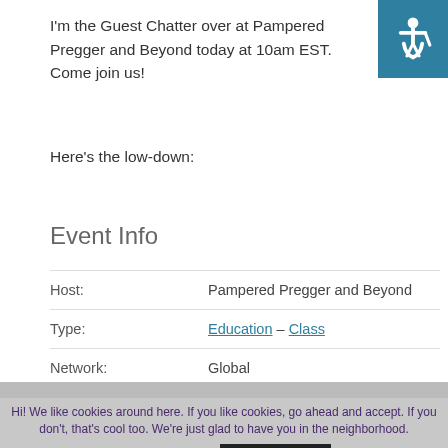I'm the Guest Chatter over at Pampered Pregger and Beyond today at 10am EST. Come join us!
Here's the low-down:
Event Info
| Host: | Pampered Pregger and Beyond |
| Type: | Education – Class |
| Network: | Global |
Hi! We like cookies around here. If you like cookies, go ahead and accept. If you don't, that's cool too. We're just glad to have you in the neighborhood.
Cookie settings
I like cookies